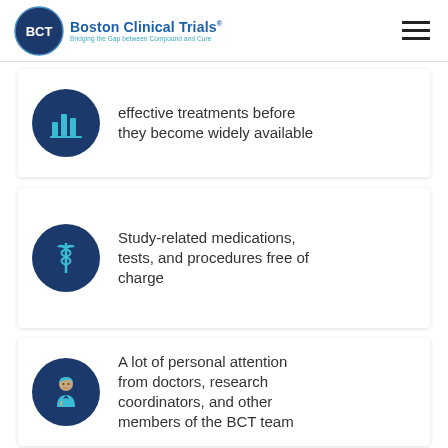Boston Clinical Trials — Bridging the Gap between Compound and Cure
effective treatments before they become widely available
Study-related medications, tests, and procedures free of charge
A lot of personal attention from doctors, research coordinators, and other members of the BCT team